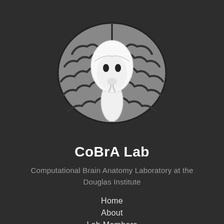[Figure (logo): CoBrA Lab logo: a stylized brain (top view, dark outline with grey fill) with a white cobra snake head emerging from the center, tongue slightly visible at the bottom.]
CoBrA Lab
Computational Brain Anatomy Laboratory at the Douglas Institute
Home
About
Lab Members